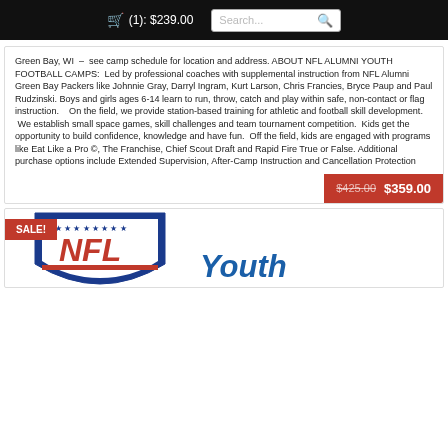(1): $239.00  Search...
Green Bay, WI – see camp schedule for location and address. ABOUT NFL ALUMNI YOUTH FOOTBALL CAMPS: Led by professional coaches with supplemental instruction from NFL Alumni Green Bay Packers like Johnnie Gray, Darryl Ingram, Kurt Larson, Chris Francies, Bryce Paup and Paul Rudzinski. Boys and girls ages 6-14 learn to run, throw, catch and play within safe, non-contact or flag instruction.   On the field, we provide station-based training for athletic and football skill development.  We establish small space games, skill challenges and team tournament competition.  Kids get the opportunity to build confidence, knowledge and have fun.  Off the field, kids are engaged with programs like Eat Like a Pro ©, The Franchise, Chief Scout Draft and Rapid Fire True or False. Additional purchase options include Extended Supervision, After-Camp Instruction and Cancellation Protection
$425.00 $359.00
[Figure (logo): NFL Alumni Youth Football Camps logo with SALE! badge]